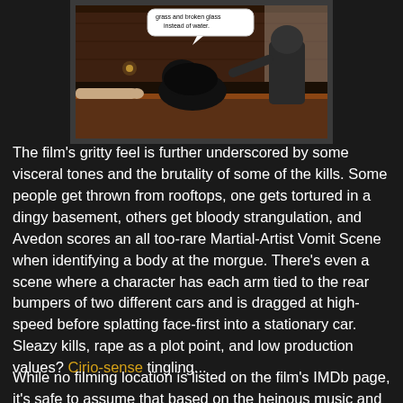[Figure (photo): A dark bar scene from a film, showing figures at a bar counter. A speech bubble at the top reads 'grass and broken glass instead of water.']
The film's gritty feel is further underscored by some visceral tones and the brutality of some of the kills. Some people get thrown from rooftops, one gets tortured in a dingy basement, others get bloody strangulation, and Avedon scores an all too-rare Martial-Artist Vomit Scene when identifying a body at the morgue. There's even a scene where a character has each arm tied to the rear bumpers of two different cars and is dragged at high-speed before splatting face-first into a stationary car. Sleazy kills, rape as a plot point, and low production values? Cirio-sense tingling...
While no filming location is listed on the film's IMDb page, it's safe to assume that based on the heinous music and